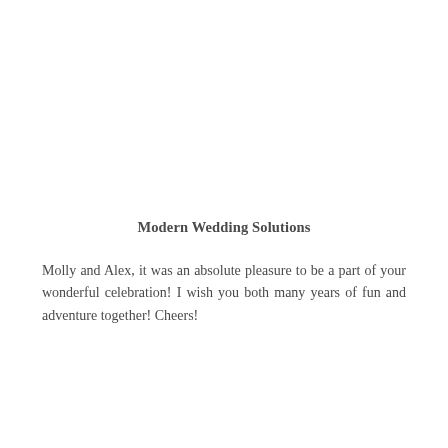Modern Wedding Solutions
Molly and Alex, it was an absolute pleasure to be a part of your wonderful celebration! I wish you both many years of fun and adventure together! Cheers!